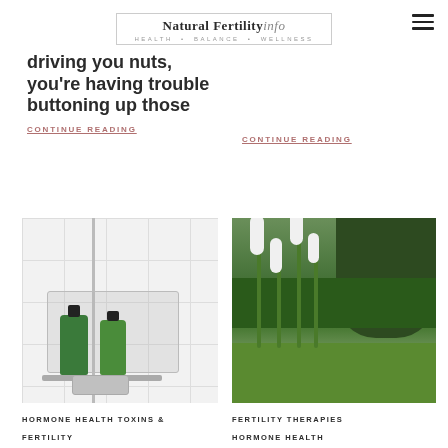Natural Fertility info — HEALTH • BALANCE • WELLNESS
driving you nuts, you're having trouble buttoning up those
CONTINUE READING
CONTINUE READING
[Figure (photo): Two green soap/shampoo bottles on a shower shelf caddy with chrome shower fittings against white tiles]
[Figure (photo): White flowering plants (possibly black cohosh) in a lush green garden with trees in background]
HORMONE HEALTH TOXINS & FERTILITY
FERTILITY THERAPIES HORMONE HEALTH